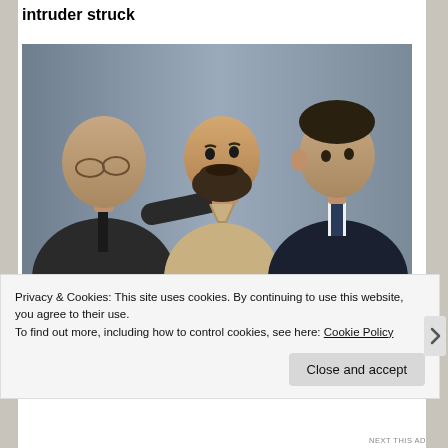intruder struck
[Figure (photo): Three men standing together: an older bald man in a dark suit on the left with hand on the shoulder of a middle man in a beige shirt with a beard, and a younger man in a dark suit on the right. Appears to be a courtroom or official setting.]
Privacy & Cookies: This site uses cookies. By continuing to use this website, you agree to their use.
To find out more, including how to control cookies, see here: Cookie Policy
Close and accept